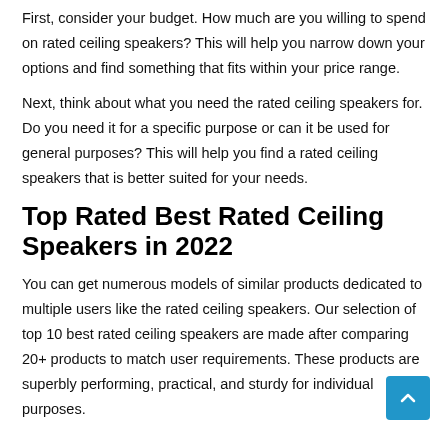First, consider your budget. How much are you willing to spend on rated ceiling speakers? This will help you narrow down your options and find something that fits within your price range.
Next, think about what you need the rated ceiling speakers for. Do you need it for a specific purpose or can it be used for general purposes? This will help you find a rated ceiling speakers that is better suited for your needs.
Top Rated Best Rated Ceiling Speakers in 2022
You can get numerous models of similar products dedicated to multiple users like the rated ceiling speakers. Our selection of top 10 best rated ceiling speakers are made after comparing 20+ products to match user requirements. These products are superbly performing, practical, and sturdy for individual purposes.